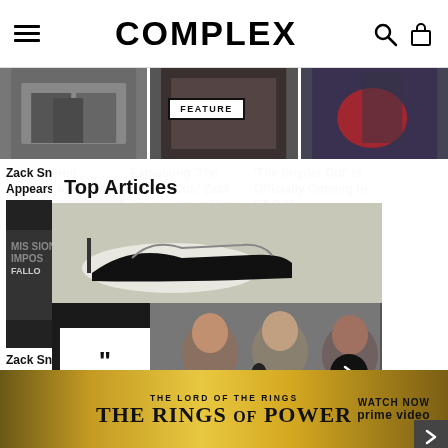COMPLEX
[Figure (screenshot): Three article thumbnail images in a row]
FEATURE
Zack Snyder Appears to Confirm Existence of 'Snyder Cut'
Explaining 'The Snyder Cut,' Zack Snyder About Versi...
'The Snyder Cut' Is Officially Coming to HBO M...
[Figure (photo): Article photo - Mission Impossible Fallout premiere]
Zack Snyder Reveals Superman's Black 'Justice League' Suit...
"Frankly, the DC ci
a tree and blossom
ways
falls,
[Figure (screenshot): Top Articles overlay panel with Complex Sneakers Podcast and podcast hosts photo]
[Figure (photo): Ad banner: The Lord of the Rings: The Rings of Power - Watch Now on Prime Video]